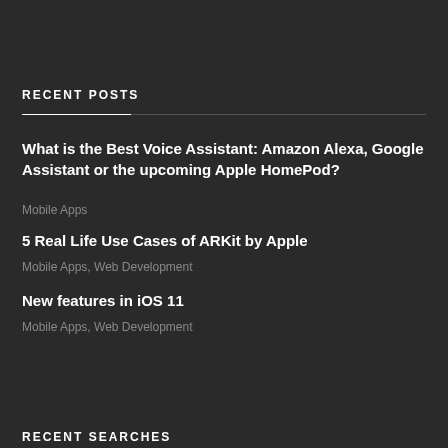RECENT POSTS
What is the Best Voice Assistant: Amazon Alexa, Google Assistant or the upcoming Apple HomePod?
Mobile Apps
5 Real Life Use Cases of ARKit by Apple
Mobile Apps, Web Development
New features in iOS 11
Mobile Apps, Web Development
RECENT SEARCHES